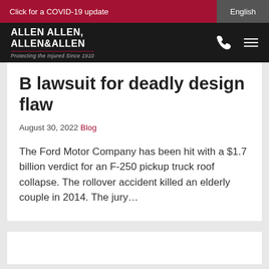Click for a COVID-19 update | English
[Figure (logo): Allen Allen Allen & Allen law firm logo with tagline 'Protecting the Injured Since 1910']
B lawsuit for deadly design flaw
August 30, 2022 Blog
The Ford Motor Company has been hit with a $1.7 billion verdict for an F-250 pickup truck roof collapse. The rollover accident killed an elderly couple in 2014. The jury...